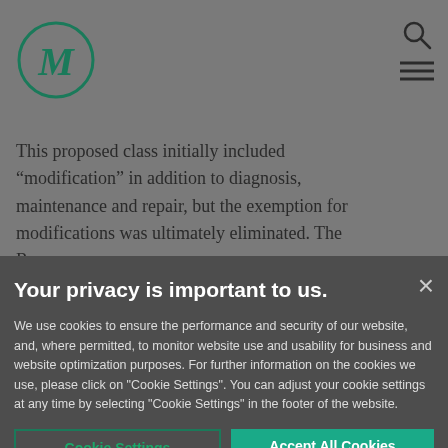[Figure (logo): Circular logo with letter M in dark teal/green, outlined circle border]
This proposed class initially included “modification” in addition to diagnosis, maintenance and repair, but the exemption for modifications was ultimately eliminated. The Reg…
Your privacy is important to us.
We use cookies to ensure the performance and security of our website, and, where permitted, to monitor website use and usability for business and website optimization purposes. For further information on the cookies we use, please click on "Cookie Settings". You can adjust your cookie settings at any time by selecting "Cookie Settings" in the footer of the website.
Cookie Settings
Accept All Cookies